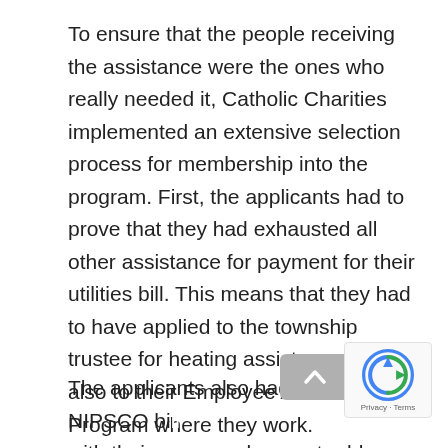To ensure that the people receiving the assistance were the ones who really needed it, Catholic Charities implemented an extensive selection process for membership into the program. First, the applicants had to prove that they had exhausted all other assistance for payment for their utilities bill. This means that they had to have applied to the township trustee for heating assistance and also to their Employee Assistance Program where they work.
The applicants also had to provide a NIPSCO bill with their name and current address on it as well as